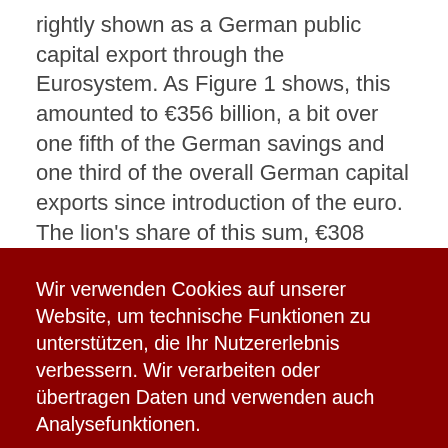rightly shown as a German public capital export through the Eurosystem. As Figure 1 shows, this amounted to €356 billion, a bit over one fifth of the German savings and one third of the overall German capital exports since introduction of the euro. The lion's share of this sum, €308 billion, accumulated after the onset of the financial crisis, namely since mid-2007, as the interbank market seized up.
It was similar to the times of the Bretton Woods system, when the USA flooded the world with its money and the Bundesbank was forced to create money by exchanging
Wir verwenden Cookies auf unserer Website, um technische Funktionen zu unterstützen, die Ihr Nutzererlebnis verbessern. Wir verarbeiten oder übertragen Daten und verwenden auch Analysefunktionen.
OK   Klicken Sie hier für weitere Informationen....